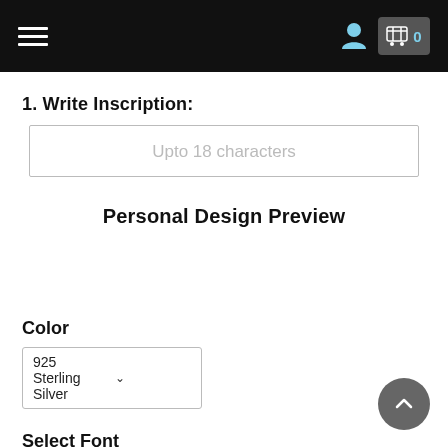Navigation bar with hamburger menu, user icon, and cart with 0 items
1. Write Inscription:
Upto 18 characters
Personal Design Preview
Color
925 Sterling Silver
Select Font
turbayne_running_hand